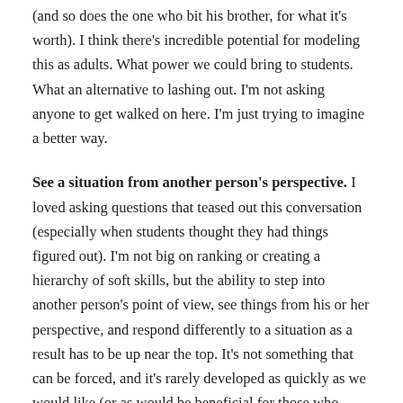(and so does the one who bit his brother, for what it's worth). I think there's incredible potential for modeling this as adults. What power we could bring to students. What an alternative to lashing out. I'm not asking anyone to get walked on here. I'm just trying to imagine a better way.
See a situation from another person's perspective. I loved asking questions that teased out this conversation (especially when students thought they had things figured out). I'm not big on ranking or creating a hierarchy of soft skills, but the ability to step into another person's point of view, see things from his or her perspective, and respond differently to a situation as a result has to be up near the top. It's not something that can be forced, and it's rarely developed as quickly as we would like (or as would be beneficial for those who interact with the learner). But it is an absolute necessity to have this skill. Graduation